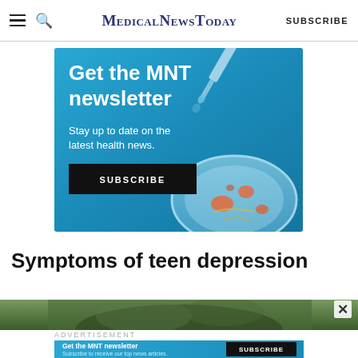MedicalNewsToday | SUBSCRIBE
[Figure (illustration): Blue advertisement banner for MNT newsletter featuring a dropper and petri dish illustration. Text: 'Get the MNT newsletter. Stay up to date on the latest health news. SUBSCRIBE']
Symptoms of teen depression
[Figure (photo): Partial photo of a teen, cropped at bottom of page]
[Figure (illustration): Bottom advertisement bar: 'Get the MNT newsletter. Subscribe to receive our top news articles. SUBSCRIBE']